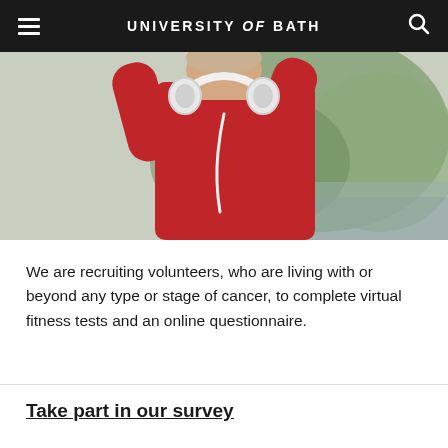UNIVERSITY of BATH
[Figure (photo): Young woman in a red hoodie with white headphones around her neck, arms raised, standing outdoors near water with trees in background]
We are recruiting volunteers, who are living with or beyond any type or stage of cancer, to complete virtual fitness tests and an online questionnaire.
Take part in our survey